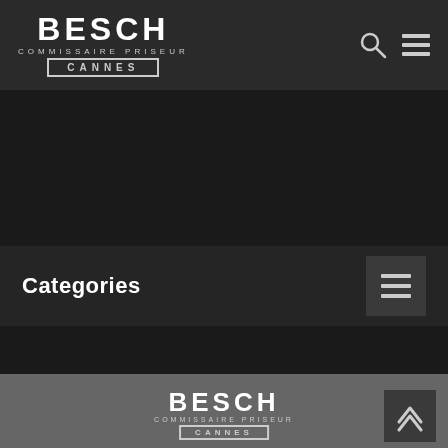BESCH COMMISSAIRE PRISEUR CANNES
Categories
[Figure (logo): BESCH Commissaire Priseur Cannes logo in footer]
BESCH COMMISSAIRE PRISEUR CANNES